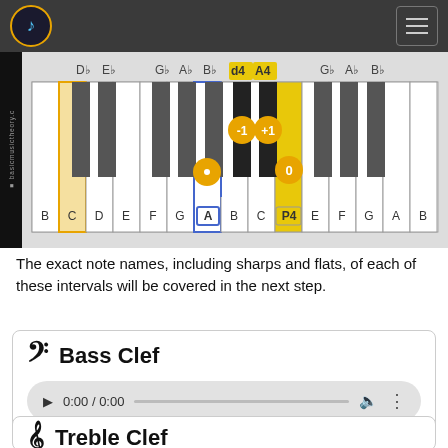basicmusictheory.com
[Figure (illustration): Piano keyboard diagram showing keys labeled B C D E F G A B C P4 E F G A B C with black keys labeled Db Eb Gb Ab Bb d4 A4 Gb Ab Bb. Orange circles with numbers -1, +1, 0 on black keys and white key. Keys A (highlighted blue outline) and P4 (highlighted yellow) are marked.]
The exact note names, including sharps and flats, of each of these intervals will be covered in the next step.
Bass Clef
[Figure (screenshot): Audio player showing 0:00 / 0:00 with play button, progress bar, volume icon and more options button]
Treble Clef